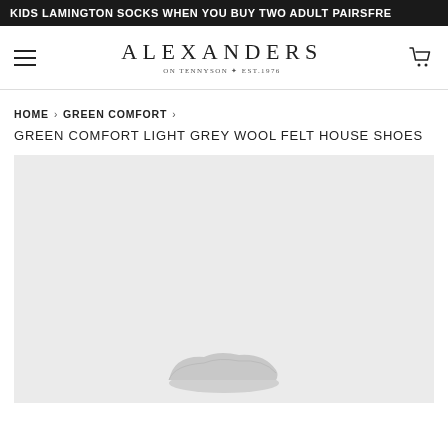KIDS LAMINGTON SOCKS WHEN YOU BUY TWO ADULT PAIRSFRE
[Figure (logo): Alexanders on Tennyson Est. 1976 logo with hamburger menu and cart icon]
HOME › GREEN COMFORT ›
GREEN COMFORT LIGHT GREY WOOL FELT HOUSE SHOES
[Figure (photo): Light grey product image area showing wool felt house shoes on light grey background]